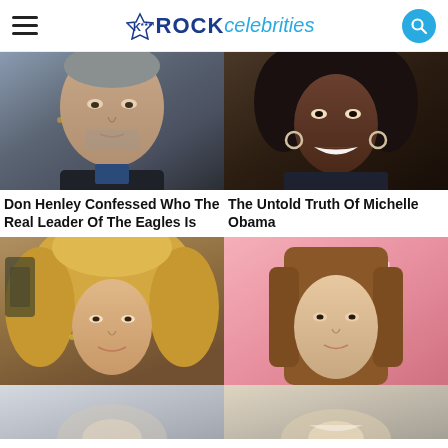ROCK celebrities
[Figure (photo): Close-up photo of Don Henley, older white male with gray stubble, dark jacket]
[Figure (photo): Photo of Michelle Obama smiling, curly dark hair, hoop earrings, dark jacket]
Don Henley Confessed Who The Real Leader Of The Eagles Is
The Untold Truth Of Michelle Obama
[Figure (photo): Photo of young blonde male rock musician with wild hair, guitar visible in background]
[Figure (photo): Photo of long-haired male on pink background, partial text visible]
[Figure (photo): Partially visible photo at bottom left, blurred/faded]
[Figure (photo): Partially visible photo at bottom right, blurred/faded]